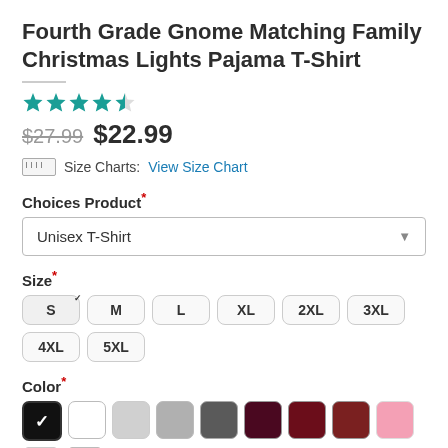Fourth Grade Gnome Matching Family Christmas Lights Pajama T-Shirt
[Figure (other): 4.5 star rating (filled and half star icons in teal)]
$27.99  $22.99
Size Charts:  View Size Chart
Choices Product*
Unisex T-Shirt
Size*
S (selected with checkmark), M, L, XL, 2XL, 3XL, 4XL, 5XL
Color*
Color swatches: black (selected), white, light gray, gray, dark gray, dark maroon, wine, dark red, pink, hot pink, red